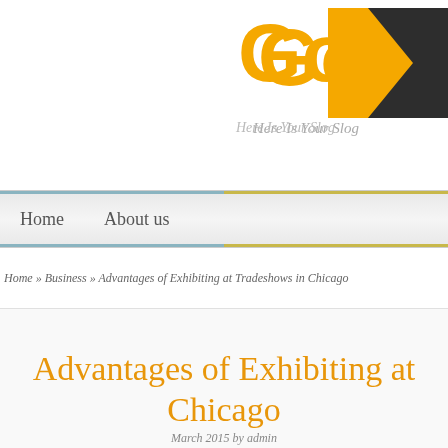[Figure (logo): GoA logo with orange 'Go' text, dark arrow/chevron shape, and italic slogan 'Here Is Your Slog']
Home   About us
Home » Business » Advantages of Exhibiting at Tradeshows in Chicago
Advantages of Exhibiting at Chicago
March 2015 by admin